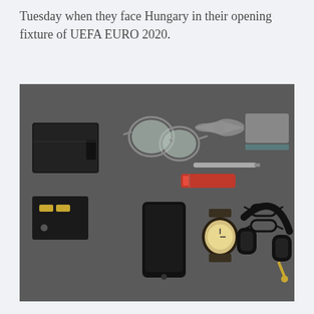Tuesday when they face Hungary in their opening fixture of UEFA EURO 2020.
[Figure (photo): Flat lay photograph on a dark grey background showing men's accessories arranged neatly: a black leather wallet, aviator sunglasses, a grey tweed bow tie, a grey notebook/case, a black leather card holder, a pen, a red Swiss Army knife, a smartphone, a wristwatch with leather strap, black-framed glasses, and over-ear black headphones.]